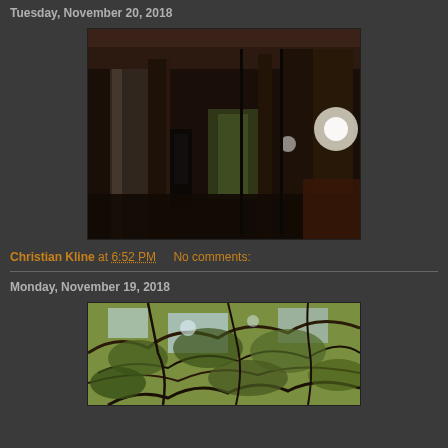Tuesday, November 20, 2018
[Figure (photo): Dark interior photo of what appears to be an underpass or covered parking structure with reflective surfaces, pillars, and a phone booth visible. Light reflects off glass panels with an outdoor scene visible in the background.]
Christian Kline at 6:52 PM   No comments:
Monday, November 19, 2018
[Figure (photo): Upward-looking photo of tree branches with foliage against a bright sky, showing dense canopy with sunlight filtering through.]